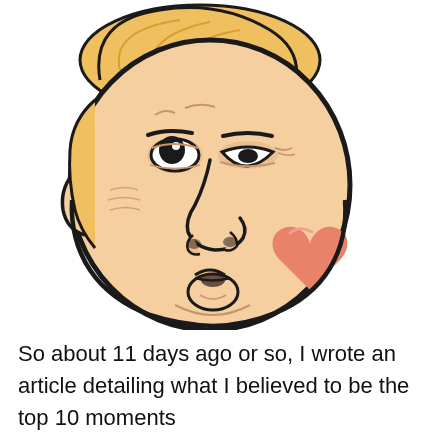[Figure (illustration): Cartoon caricature of a blond-haired man with puffy cheeks making a kissing face, with a salmon/coral colored heart shape next to the mouth. The face has exaggerated features: disheveled blond hair swept to one side, one wide eye and one squinting eye, a round nose, and puckered lips. Drawn in a simple cartoon style with thick black outlines and peach/beige skin tone fill.]
So about 11 days ago or so, I wrote an article detailing what I believed to be the top 10 moments